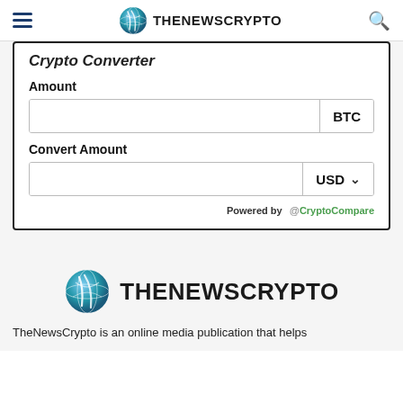THENEWSCRYPTO
Crypto Converter
Amount
BTC
Convert Amount
USD
Powered by @ CryptoCompare
[Figure (logo): TheNewsCrypto logo with globe icon and text THENEWSCRYPTO]
TheNewsCrypto is an online media publication that helps